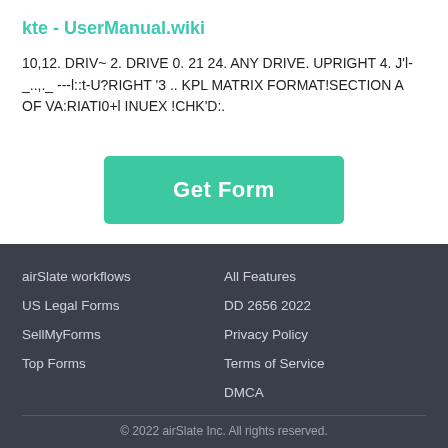kte - UserManual.wiki
10,12. DRIV~ 2. DRIVE 0. 21 24. ANY DRIVE. UPRIGHT 4. J'l-_..,._ ---l::t-U?RIGHT '3 .. KPL MATRIX FORMAT!SECTION A OF VA:RIATI0+l INUEX !CHK'D:.
[Figure (other): Get Form button - a teal/green rounded rectangle button with white bold text reading 'Get Form']
airSlate workflows
US Legal Forms
SellMyForms
Top Forms
All Features
DD 2656 2022
Privacy Policy
Terms of Service
DMCA
© 2022 airSlate Inc. All rights reserved.